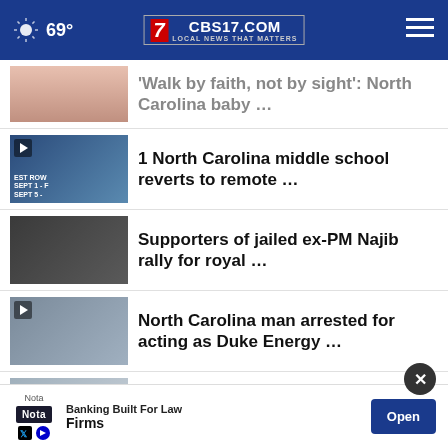CBS17.COM LOCAL NEWS THAT MATTERS — 69°
'Walk by faith, not by sight': North Carolina baby …
1 North Carolina middle school reverts to remote …
Supporters of jailed ex-PM Najib rally for royal …
North Carolina man arrested for acting as Duke Energy …
It's a bird! It's a plane! It's a ray! People at …
Angola votes as ruling party seeks to …
[Figure (screenshot): Advertisement banner: Nota – Banking Built For Law Firms, with Open button]